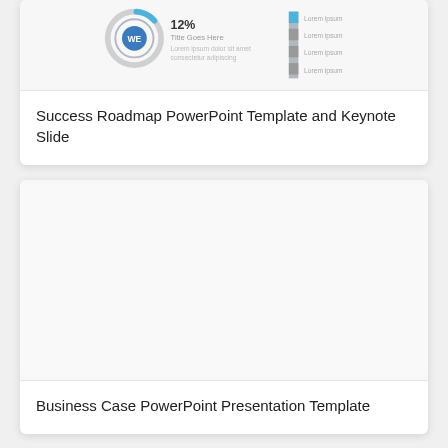[Figure (screenshot): Thumbnail preview of Success Roadmap PowerPoint Template showing a circular progress indicator at 12% with road/timeline graphic]
Success Roadmap PowerPoint Template and Keynote Slide
[Figure (screenshot): Blank/white thumbnail preview of Business Case PowerPoint Presentation Template]
Business Case PowerPoint Presentation Template